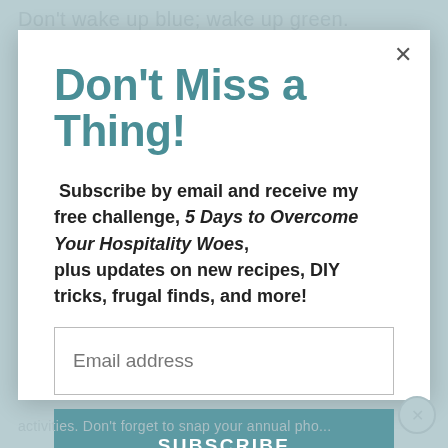Don't wake up blue; wake up green.
Don't Miss a Thing!
Subscribe by email and receive my free challenge, 5 Days to Overcome Your Hospitality Woes, plus updates on new recipes, DIY tricks, frugal finds, and more!
Email address
SUBSCRIBE
activities. Don't forget to snap your annual pho...